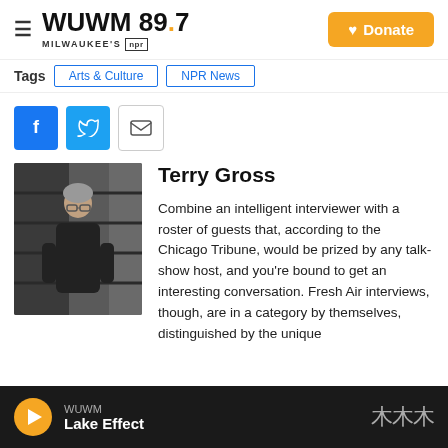WUWM 89.7 Milwaukee's NPR — Donate
Tags  Arts & Culture  NPR News
[Figure (other): Social sharing buttons: Facebook, Twitter, Email]
[Figure (photo): Photo of Terry Gross standing in front of shelves, wearing a black jacket]
Terry Gross
Combine an intelligent interviewer with a roster of guests that, according to the Chicago Tribune, would be prized by any talk-show host, and you're bound to get an interesting conversation. Fresh Air interviews, though, are in a category by themselves, distinguished by the unique
WUWM Lake Effect (player bar)